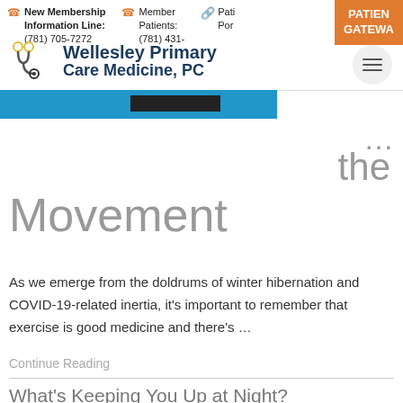New Membership Information Line: (781) 705-7272 | Member Patients: (781) 431- | Pati Por... | PATIENT GATEWAY
[Figure (logo): Wellesley Primary Care Medicine, PC logo with stethoscope icon]
Movement
As we emerge from the doldrums of winter hibernation and COVID-19-related inertia, it's important to remember that exercise is good medicine and there's ...
Continue Reading
What's Keeping You Up at Night?